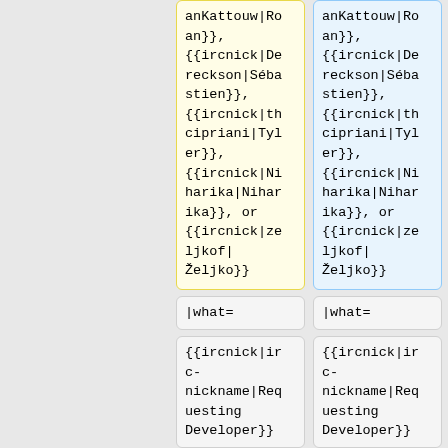anKattouw|Roan}}, {{ircnick|Dereckson|Sébastien}}, {{ircnick|thcipriani|Tyler}}, {{ircnick|Niharika|Niharika}}, or {{ircnick|zeljkof|Željko}}
anKattouw|Roan}}, {{ircnick|Dereckson|Sébastien}}, {{ircnick|thcipriani|Tyler}}, {{ircnick|Niharika|Niharika}}, or {{ircnick|zeljkof|Željko}}
|what=
|what=
{{ircnick|irc-nickname|Requesting Developer}}
{{ircnick|irc-nickname|Requesting Developer}}